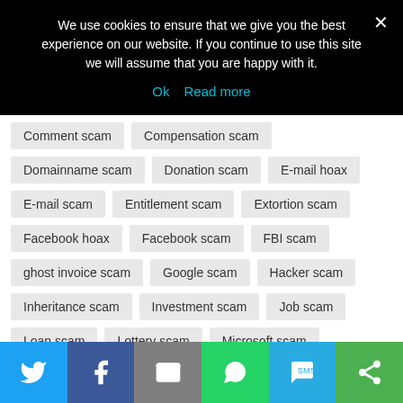We use cookies to ensure that we give you the best experience on our website. If you continue to use this site we will assume that you are happy with it.
Ok   Read more
Comment scam
Compensation scam
Domainname scam
Donation scam
E-mail hoax
E-mail scam
Entitlement scam
Extortion scam
Facebook hoax
Facebook scam
FBI scam
ghost invoice scam
Google scam
Hacker scam
Inheritance scam
Investment scam
Job scam
Loan scam
Lottery scam
Microsoft scam
Nigerian scam
phishing scam
Romance scam